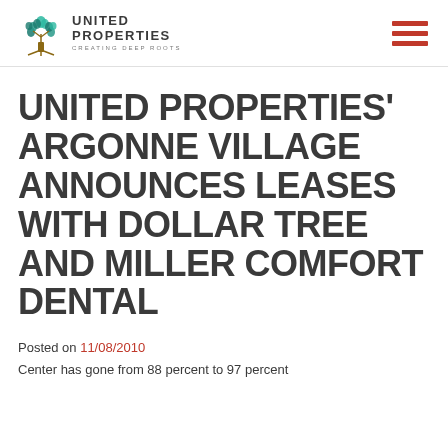UNITED PROPERTIES CREATING DEEP ROOTS
UNITED PROPERTIES' ARGONNE VILLAGE ANNOUNCES LEASES WITH DOLLAR TREE AND MILLER COMFORT DENTAL
Posted on 11/08/2010
Center has gone from 88 percent to 97 percent